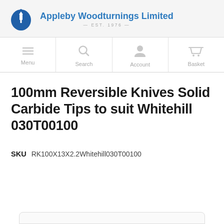Appleby Woodturnings Limited EST. 1976
[Figure (screenshot): Website navigation bar with Menu, Search, Account, and Basket icons]
100mm Reversible Knives Solid Carbide Tips to suit Whitehill 030T00100
SKU  RK100X13X2.2Whitehill030T00100